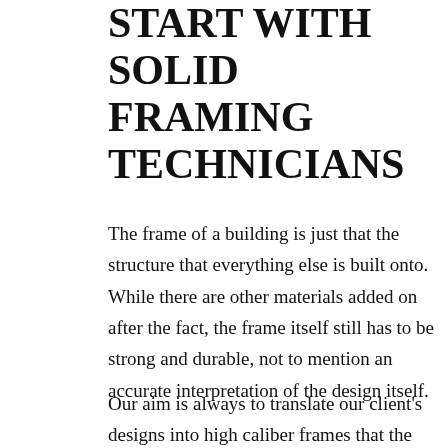START WITH SOLID FRAMING TECHNICIANS
The frame of a building is just that the structure that everything else is built onto. While there are other materials added on after the fact, the frame itself still has to be strong and durable, not to mention an accurate interpretation of the design itself.
Our aim is always to translate our client's designs into high caliber frames that the